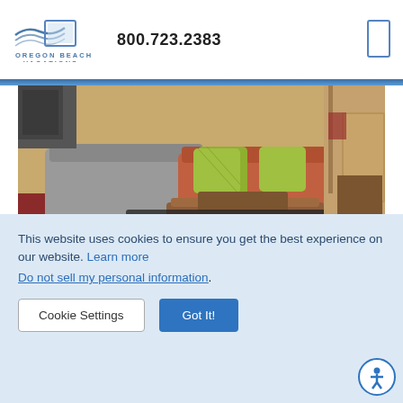[Figure (logo): Oregon Beach Vacations logo with stylized wave/square icon and text]
800.723.2383
[Figure (photo): Interior photo of a vacation rental living room with orange sofa, green pillows, wooden coffee table, and hardwood floors]
[Figure (photo): Interior photo of a vacation rental room, lighter tones, appears to be a bedroom or dining area]
This website uses cookies to ensure you get the best experience on our website. Learn more
Do not sell my personal information.
Cookie Settings
Got It!